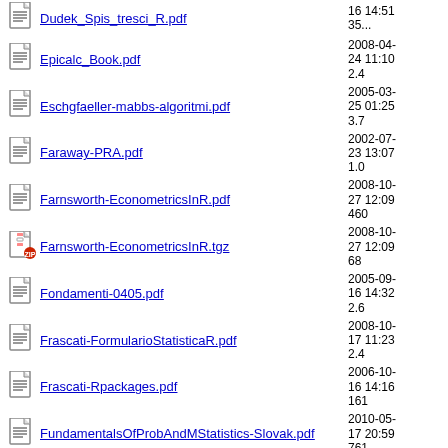Dudek_Spis_tresci_R.pdf  2008-?? 16 14:51  352...
Epicalc_Book.pdf  2008-04-24 11:10  2.4
Eschgfaeller-mabbs-algoritmi.pdf  2005-03-25 01:25  3.7
Faraway-PRA.pdf  2002-07-23 13:07  1.0
Farnsworth-EconometricsInR.pdf  2008-10-27 12:09  460
Farnsworth-EconometricsInR.tgz  2008-10-27 12:09  68
Fondamenti-0405.pdf  2005-09-16 14:32  2.6
Frascati-FormularioStatisticaR.pdf  2008-10-17 11:23  2.4
Frascati-Rpackages.pdf  2006-10-16 14:16  161
FundamentalsOfProbAndMStatistics-Slovak.pdf  2010-05-17 20:59  761
Gatnar_Walesiak_contents.pdf  2012-11-01 19:08  173
Gatnar_Walesiak_scripts_data.zip  2012-11-01 19:08  282